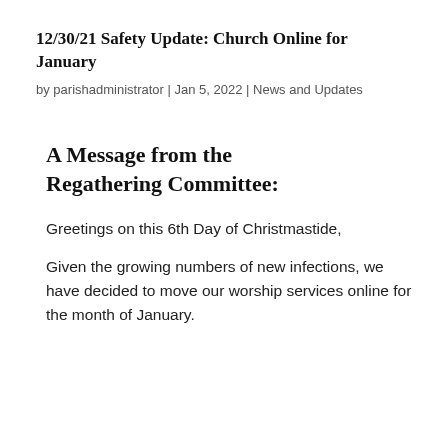12/30/21 Safety Update: Church Online for January
by parishadministrator | Jan 5, 2022 | News and Updates
A Message from the Regathering Committee:
Greetings on this 6th Day of Christmastide,
Given the growing numbers of new infections, we have decided to move our worship services online for the month of January.